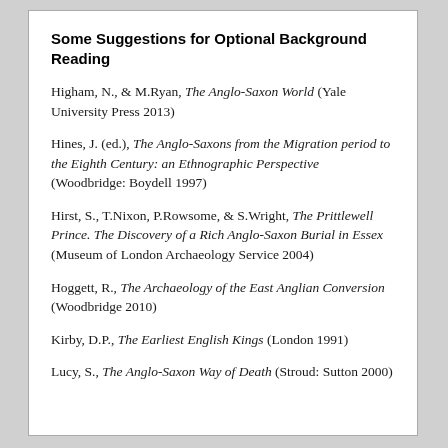Some Suggestions for Optional Background Reading
Higham, N., & M.Ryan, The Anglo-Saxon World (Yale University Press 2013)
Hines, J. (ed.), The Anglo-Saxons from the Migration period to the Eighth Century: an Ethnographic Perspective (Woodbridge: Boydell 1997)
Hirst, S., T.Nixon, P.Rowsome, & S.Wright, The Prittlewell Prince. The Discovery of a Rich Anglo-Saxon Burial in Essex (Museum of London Archaeology Service 2004)
Hoggett, R., The Archaeology of the East Anglian Conversion (Woodbridge 2010)
Kirby, D.P., The Earliest English Kings (London 1991)
Lucy, S., The Anglo-Saxon Way of Death (Stroud: Sutton 2000)